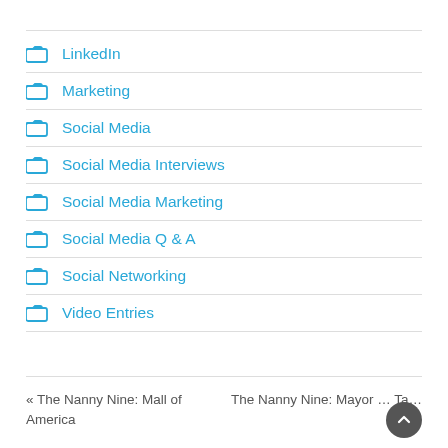LinkedIn
Marketing
Social Media
Social Media Interviews
Social Media Marketing
Social Media Q & A
Social Networking
Video Entries
« The Nanny Nine: Mall of America
The Nanny Nine: Mayor … Ta…